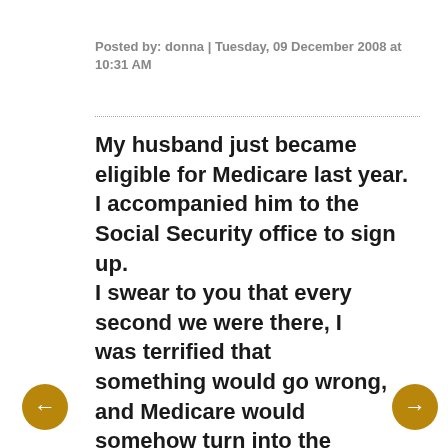Posted by: donna | Tuesday, 09 December 2008 at 10:31 AM
My husband just became eligible for Medicare last year. I accompanied him to the Social Security office to sign up.
I swear to you that every second we were there, I was terrified that something would go wrong, and Medicare would somehow turn into the nightmare world of private health insurance (which, being younger, is